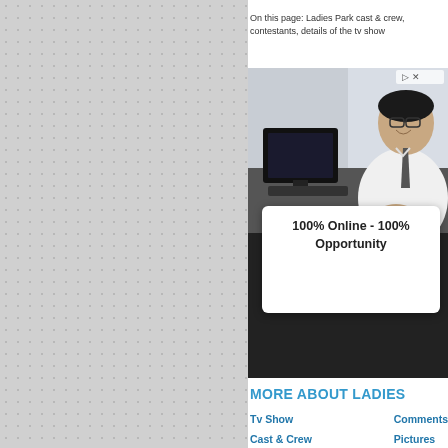On this page: Ladies Park cast & crew, contestants, details of the tv show
[Figure (photo): Advertisement showing a young Asian man in glasses and a tie sitting at a desk with a computer monitor, smiling at the camera. An overlay box reads '100% Online - 100% Opportunity'. Ad close buttons visible in top right.]
MORE ABOUT LADIES
Tv Show
Comments
Cast & Crew
Pictures